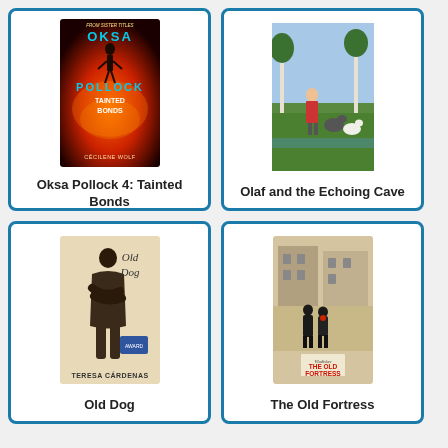[Figure (illustration): Book cover: Oksa Pollock 4: Tainted Bonds - red and orange swirling background with figure silhouette and teal title text]
Oksa Pollock 4: Tainted Bonds
[Figure (illustration): Book cover: Olaf and the Echoing Cave - painted scene with girl, goat, and birch trees]
Olaf and the Echoing Cave
[Figure (illustration): Book cover: Old Dog by Teresa Cardenas - sepia/charcoal illustration of shirtless figure]
Old Dog
[Figure (illustration): Book cover: The Old Fortress - black and white illustration of two figures on a street with buildings]
The Old Fortress